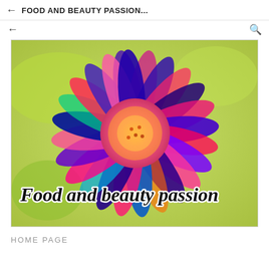FOOD AND BEAUTY PASSION...
[Figure (photo): A colorful psychedelic/neon-filtered close-up photo of a daisy flower with pink, purple, green, and red hues, with cursive script text overlay reading 'Food and beauty passion']
HOME PAGE